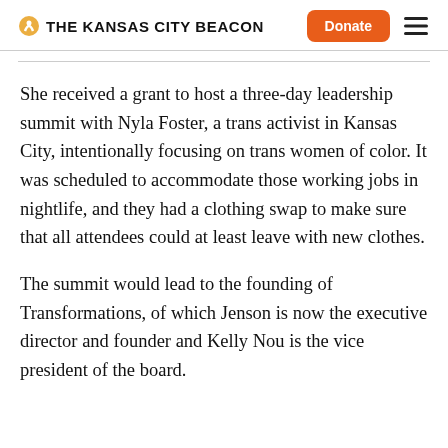THE KANSAS CITY BEACON
She received a grant to host a three-day leadership summit with Nyla Foster, a trans activist in Kansas City, intentionally focusing on trans women of color. It was scheduled to accommodate those working jobs in nightlife, and they had a clothing swap to make sure that all attendees could at least leave with new clothes.
The summit would lead to the founding of Transformations, of which Jenson is now the executive director and founder and Kelly Nou is the vice president of the board.